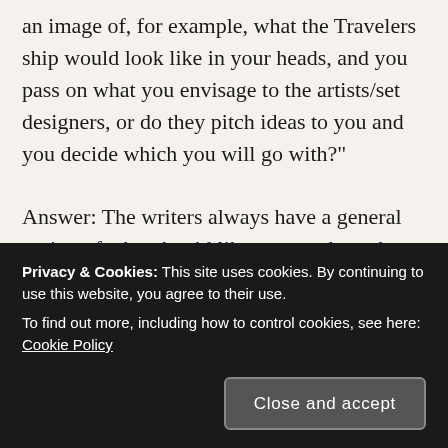an image of, for example, what the Travelers ship would look like in your heads, and you pass on what you envisage to the artists/set designers, or do they pitch ideas to you and you decide which you will go with?"
Answer: The writers always have a general notion of what they'd like to see – but when we turn it over to James Robbins and co., they take that initial concept and come up with something that will surpass anything we imagined.
A...
season 4?"
Privacy & Cookies: This site uses cookies. By continuing to use this website, you agree to their use. To find out more, including how to control cookies, see here: Cookie Policy
Close and accept